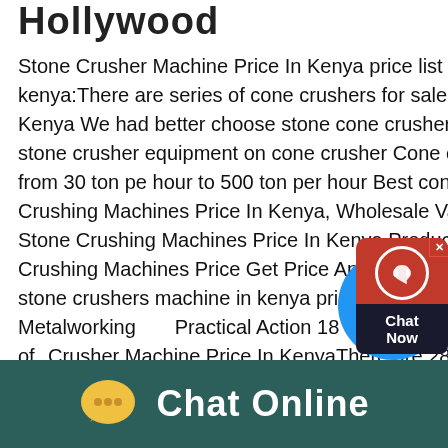Hollywood
Stone Crusher Machine Price In Kenya price list of stone crusher in kenya:There are series of cone crushers for sale in crushing plant Kenya We had better choose stone cone crusher types according to stone crusher equipment on cone crusher Cone crusher capacity are from 30 ton per hour to 500 ton per hour Best cone c More DetailStone Crushing Machines Price In Kenya, Wholesale Various High Quality Stone Crushing Machines Price In Kenya Products from Global Stone Crushing Machines Price Get Price And Support Online; jua kali made stone crushers machine in kenya prices May 12, 2013 · Metalworking and Practical Action 18 May 2007 In Kenya this type ofStone Crusher Machine Price In KenyaThere are 284 200tph stone crusher machine price suppliers mainly located in asia the top supplying country or region is china which
[Figure (screenshot): Red chat widget overlay with headset icon and 'Chat Now' label, plus blue circle overlay in lower right]
Chat Online